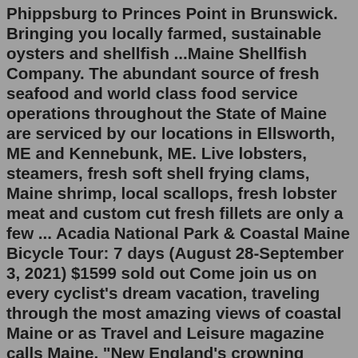Phippsburg to Princes Point in Brunswick. Bringing you locally farmed, sustainable oysters and shellfish ...Maine Shellfish Company. The abundant source of fresh seafood and world class food service operations throughout the State of Maine are serviced by our locations in Ellsworth, ME and Kennebunk, ME. Live lobsters, steamers, fresh soft shell frying clams, Maine shrimp, local scallops, fresh lobster meat and custom cut fresh fillets are only a few ... Acadia National Park & Coastal Maine Bicycle Tour: 7 days (August 28-September 3, 2021) $1599 sold out Come join us on every cyclist's dream vacation, traveling through the most amazing views of coastal Maine or as Travel and Leisure magazine calls Maine, "New England's crowning gem!"6-Day New Hampshire, Maine, Boston Tour from New York Tour Code: 355-5885. ... and Massachusetts is famous for its shellfish. Admission (Optional): Adult $32; Child (3-12 yrs) $32; Senior (Over 65 yrs) $32. Standard Hotel: Radisson Hotel Nashua/ Crowne Plaza Nashua or similar. Day 4 ...Courtesy of The Clam Shack. The